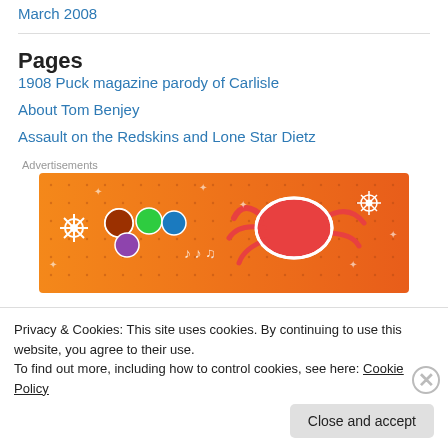March 2008
Pages
1908 Puck magazine parody of Carlisle
About Tom Benjey
Assault on the Redskins and Lone Star Dietz
[Figure (illustration): Orange advertisement banner with illustrated dice, flowers, and a crab character on an orange dotted background]
Privacy & Cookies: This site uses cookies. By continuing to use this website, you agree to their use.
To find out more, including how to control cookies, see here: Cookie Policy
Close and accept